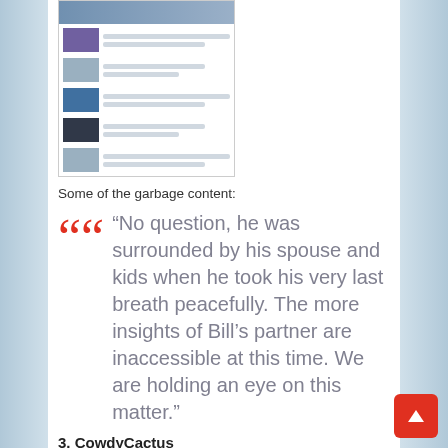[Figure (screenshot): Screenshot of a web page showing a news/content feed with multiple image thumbnails and text rows]
Some of the garbage content:
“No question, he was surrounded by his spouse and kids when he took his very last breath peacefully. The more insights of Bill’s partner are inaccessible at this time. We are holding an eye on this matter.”
3. CowdyCactus
[Figure (screenshot): Screenshot of CowdyCactus website with red header, notification popup, green banner, and dark bar]